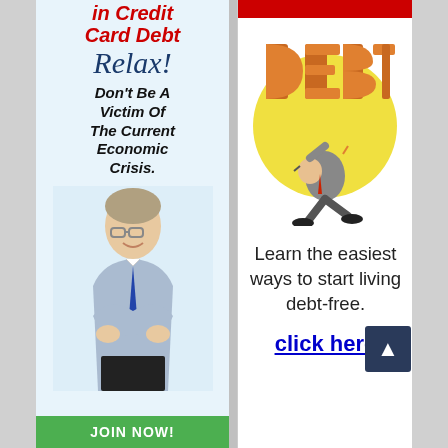[Figure (illustration): Left advertisement banner: light blue background, red italic bold text 'in Credit Card Debt', cursive blue text 'Relax!', bold italic black text 'Don't Be A Victim Of The Current Economic Crisis.', photo of smiling businessman with arms crossed, green JOIN NOW! button at bottom.]
[Figure (illustration): Right advertisement banner: white background with red bar at top, illustration of cartoon man crushed under large orange 'DEBT' letters with yellow circle behind, text 'Learn the easiest ways to start living debt-free.', blue underlined link 'click here'.]